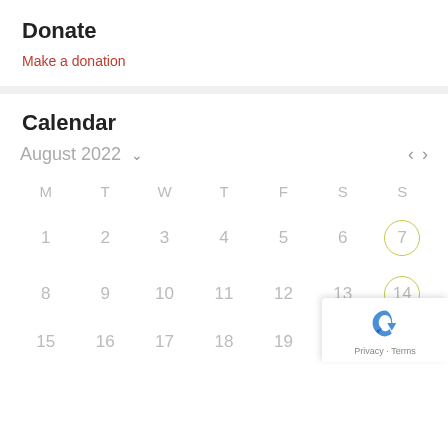Donate
Make a donation
Calendar
[Figure (other): August 2022 calendar widget showing dates 1-20, with 7 and 14 circled in olive/yellow. Navigation arrows for previous/next month. Days of week: M T W T F S S. A reCAPTCHA badge is visible in the bottom right corner.]